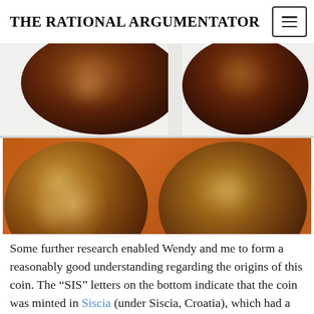THE RATIONAL ARGUMENTATOR
[Figure (photo): Two Roman coins shown from both obverse and reverse sides. Top row shows two dark bronze coins partially cropped. Bottom row shows a larger detailed view: left coin showing a portrait bust (obverse), right coin showing a seated figure with 'HSIS' inscription on the reverse.]
Some further research enabled Wendy and me to form a reasonably good understanding regarding the origins of this coin. The “SIS” letters on the bottom indicate that the coin was minted in Siscia (under Siscia, Croatia), which had a major mint for